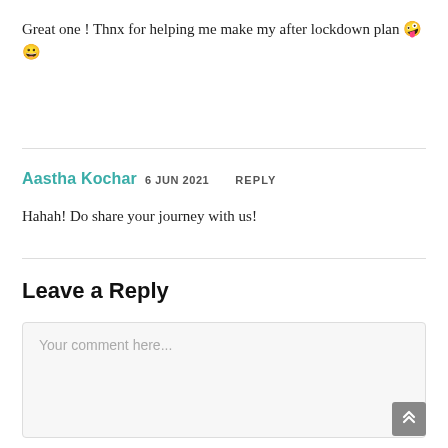Great one ! Thnx for helping me make my after lockdown plan 🤪😀
Aastha Kochar 6 JUN 2021 REPLY
Hahah! Do share your journey with us!
Leave a Reply
Your comment here...